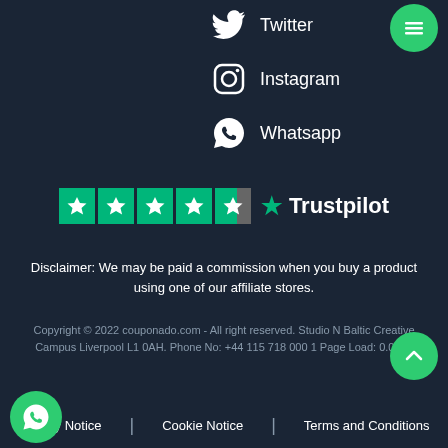[Figure (illustration): Twitter bird icon with label 'Twitter']
[Figure (illustration): Instagram camera icon with label 'Instagram']
[Figure (illustration): Whatsapp icon with label 'Whatsapp']
[Figure (illustration): Trustpilot rating showing 4.5 stars and Trustpilot logo]
Disclaimer: We may be paid a commission when you buy a product using one of our affiliate stores.
Copyright © 2022 couponado.com - All right reserved. Studio N Baltic Creative Campus Liverpool L1 0AH. Phone No: +44 115 718 000 1 Page Load: 0.0333
Privacy Notice | Cookie Notice | Terms and Conditions